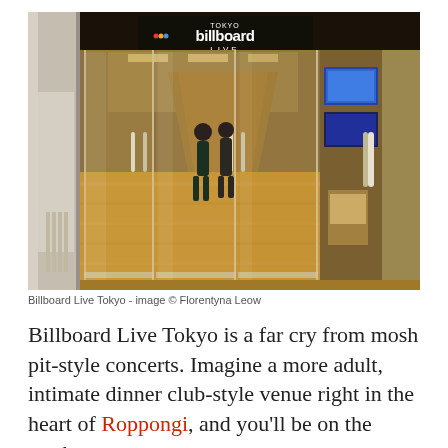[Figure (photo): Exterior glass entrance doors of Billboard Live Tokyo venue in Roppongi. The entrance has large glass sliding doors with chrome handles, a dark ceiling sign reading 'billboard LIVE TOKYO', a warm wood-floored interior visible beyond, two people standing inside, and screens visible on the right side.]
Billboard Live Tokyo - image © Florentyna Leow
Billboard Live Tokyo is a far cry from mosh pit-style concerts. Imagine a more adult, intimate dinner club-style venue right in the heart of Roppongi, and you'll be on the mark.